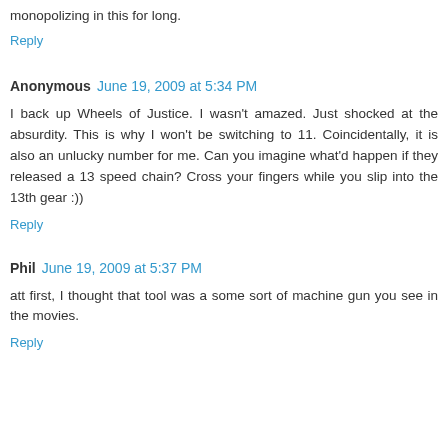monopolizing in this for long.
Reply
Anonymous  June 19, 2009 at 5:34 PM
I back up Wheels of Justice. I wasn't amazed. Just shocked at the absurdity. This is why I won't be switching to 11. Coincidentally, it is also an unlucky number for me. Can you imagine what'd happen if they released a 13 speed chain? Cross your fingers while you slip into the 13th gear :))
Reply
Phil  June 19, 2009 at 5:37 PM
att first, I thought that tool was a some sort of machine gun you see in the movies.
Reply